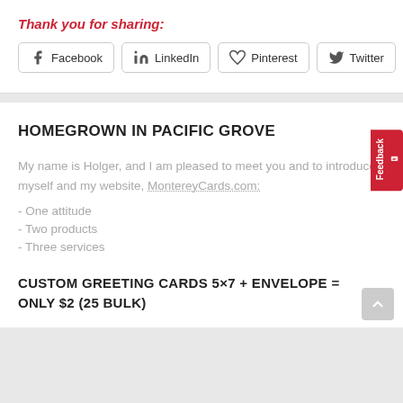Thank you for sharing:
[Figure (infographic): Social sharing buttons for Facebook, LinkedIn, Pinterest, and Twitter]
HOMEGROWN IN PACIFIC GROVE
My name is Holger, and I am pleased to meet you and to introduce myself and my website, MontereyCards.com:
- One attitude
- Two products
- Three services
CUSTOM GREETING CARDS 5×7 + ENVELOPE = ONLY $2 (25 BULK)